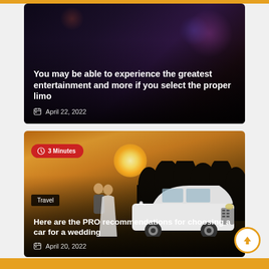[Figure (photo): Article card showing entertainment scene with dark overlay. Title: 'You may be able to experience the greatest entertainment and more if you select the proper limo'. Date: April 22, 2022.]
You may be able to experience the greatest entertainment and more if you select the proper limo
April 22, 2022
[Figure (photo): Article card showing wedding couple in front of white SUV at sunset. Badge: '3 Minutes'. Tag: 'Travel'. Title: 'Here are the PRO recommendations for choosing a car for a wedding'. Date: April 20, 2022.]
Here are the PRO recommendations for choosing a car for a wedding
April 20, 2022